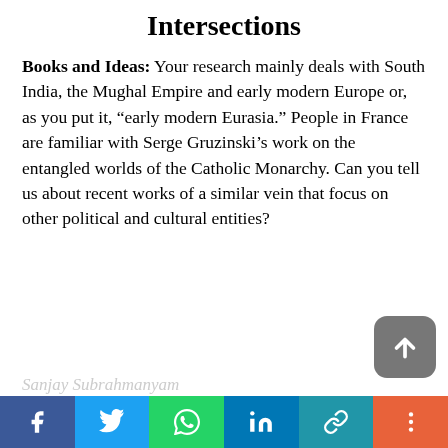Intersections
Books and Ideas: Your research mainly deals with South India, the Mughal Empire and early modern Europe or, as you put it, “early modern Eurasia.” People in France are familiar with Serge Gruzinski’s work on the entangled worlds of the Catholic Monarchy. Can you tell us about recent works of a similar vein that focus on other political and cultural entities?
[Figure (other): Scroll-to-top button (grey rounded square with upward arrow)]
[Figure (other): Social sharing bar with Facebook, Twitter, WhatsApp, LinkedIn, copy-link, and more buttons]